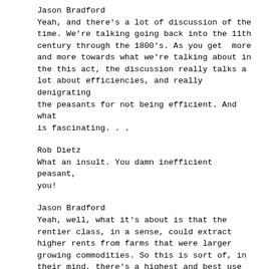Jason Bradford
Yeah, and there's a lot of discussion of the time. We're talking going back into the 11th century through the 1800's. As you get more and more towards what we're talking about in the this act, the discussion really talks a lot about efficiencies, and really denigrating the peasants for not being efficient. And what is fascinating. . .
Rob Dietz
What an insult. You damn inefficient peasant, you!
Jason Bradford
Yeah, well, what it's about is that the rentier class, in a sense, could extract higher rents from farms that were larger growing commodities. So this is sort of, in their mind, there's a highest and best use case to be made for kicking the peasants off and getting this into sort of private hands that are consolidated production. And